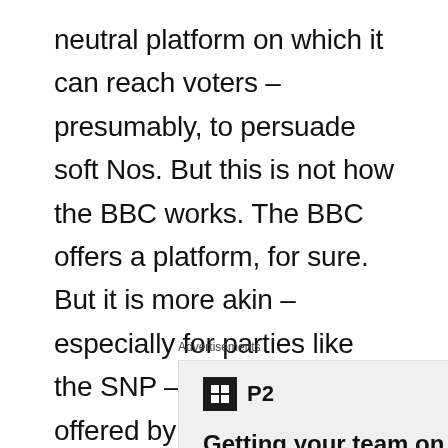neutral platform on which it can reach voters – presumably, to persuade soft Nos. But this is not how the BBC works. The BBC offers a platform, for sure. But it is more akin – especially for parties like the SNP – to the platform offered by the guillotine or the gallows; a place of spectacle where the enemies of the state are set up to be pilloried and executed.
Advertisements
[Figure (other): Advertisement for P2 with logo icon (dark square with grid symbol) and headline: Getting your team on the same page is easy. And f...]